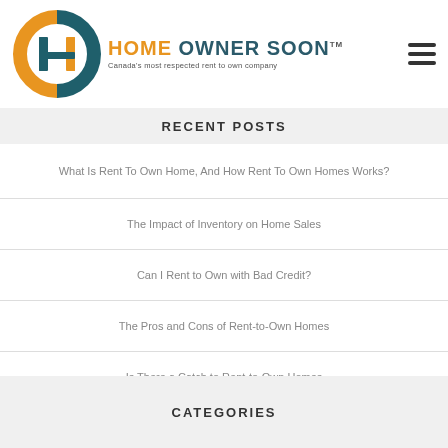[Figure (logo): Home Owner Soon logo with circular H icon in teal and gold, text 'HOME OWNER SOON' with tagline 'Canada's most respected rent to own company']
RECENT POSTS
What Is Rent To Own Home, And How Rent To Own Homes Works?
The Impact of Inventory on Home Sales
Can I Rent to Own with Bad Credit?
The Pros and Cons of Rent-to-Own Homes
Is There a Catch to Rent-to-Own Homes
CATEGORIES